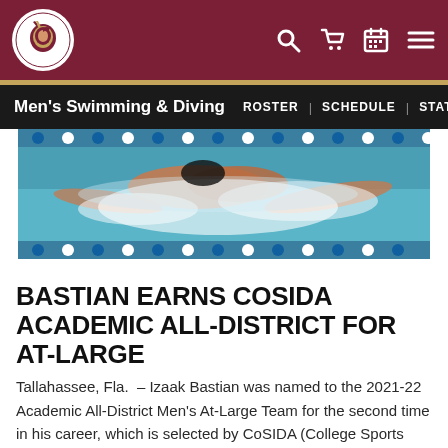Florida State University Athletics - Men's Swimming & Diving
[Figure (photo): Swimmer competing in pool, freestyle stroke, with blue lane dividers visible]
BASTIAN EARNS COSIDA ACADEMIC ALL-DISTRICT FOR AT-LARGE
Tallahassee, Fla.  – Izaak Bastian was named to the 2021-22 Academic All-District Men's At-Large Team for the second time in his career, which is selected by CoSIDA (College Sports Information